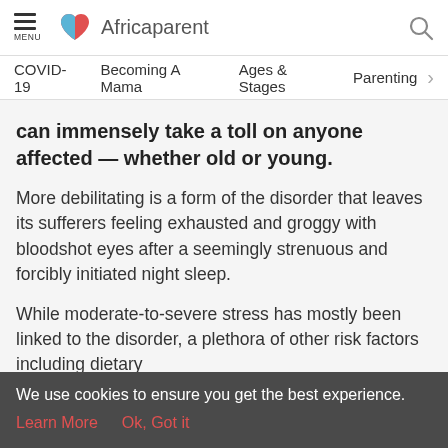Africaparent
COVID-19    Becoming A Mama    Ages & Stages    Parenting
can immensely take a toll on anyone affected — whether old or young.
More debilitating is a form of the disorder that leaves its sufferers feeling exhausted and groggy with bloodshot eyes after a seemingly strenuous and forcibly initiated night sleep.
While moderate-to-severe stress has mostly been linked to the disorder, a plethora of other risk factors including dietary
We use cookies to ensure you get the best experience.
Learn More    Ok, Got it